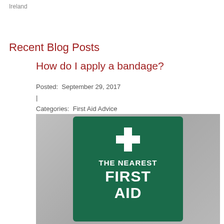Ireland
Recent Blog Posts
How do I apply a bandage?
Posted:  September 29, 2017
|
Categories:  First Aid Advice
[Figure (photo): Green first aid sign with white cross and text reading THE NEAREST FIRST AID]